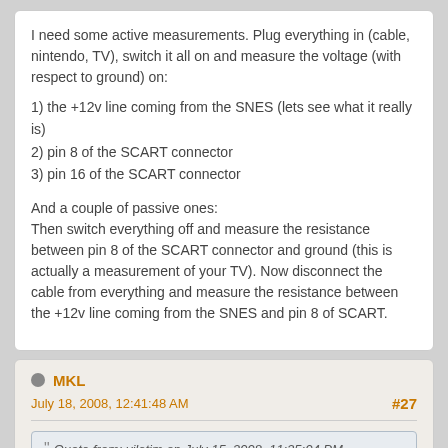I need some active measurements. Plug everything in (cable, nintendo, TV), switch it all on and measure the voltage (with respect to ground) on:
1) the +12v line coming from the SNES (lets see what it really is)
2) pin 8 of the SCART connector
3) pin 16 of the SCART connector
And a couple of passive ones:
Then switch everything off and measure the resistance between pin 8 of the SCART connector and ground (this is actually a measurement of your TV). Now disconnect the cable from everything and measure the resistance between the +12v line coming from the SNES and pin 8 of SCART.
MKL
July 18, 2008, 12:41:48 AM
#27
Quote from: viletim on July 15, 2008, 11:25:04 PM